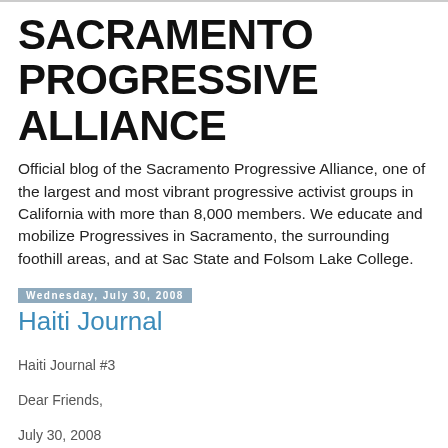SACRAMENTO PROGRESSIVE ALLIANCE
Official blog of the Sacramento Progressive Alliance, one of the largest and most vibrant progressive activist groups in California with more than 8,000 members. We educate and mobilize Progressives in Sacramento, the surrounding foothill areas, and at Sac State and Folsom Lake College.
Wednesday, July 30, 2008
Haiti Journal
Haiti Journal #3
Dear Friends,
July 30, 2008